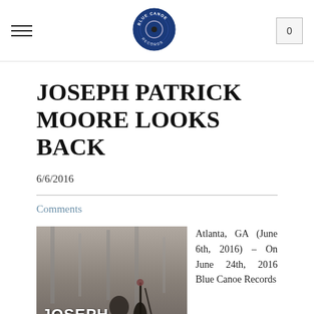Blue Canoe Records — Menu | Logo | Cart (0)
JOSEPH PATRICK MOORE LOOKS BACK
6/6/2016
Comments
[Figure (photo): Black and white photo of Joseph Patrick Moore playing upright bass outdoors, with text overlay reading JOSEPH PATRICK MOORE]
Atlanta, GA (June 6th, 2016) – On June 24th, 2016 Blue Canoe Records